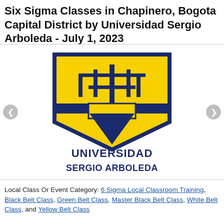Six Sigma Classes in Chapinero, Bogota Capital District by Universidad Sergio Arboleda - July 1, 2023
[Figure (logo): Universidad Sergio Arboleda logo: a shield with yellow and dark navy sections featuring a stylized tree/menorah symbol, with text 'UNIVERSIDAD SERGIO ARBOLEDA' in dark navy below]
Local Class Or Event Category: 6 Sigma Local Classroom Training, Black Belt Class, Green Belt Class, Master Black Belt Class, White Belt Class, and Yellow Belt Class